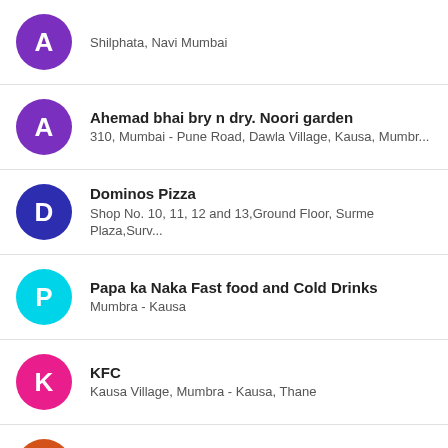A — Shilphata, Navi Mumbai
Ahemad bhai bry n dry. Noori garden — 310, Mumbai - Pune Road, Dawla Village, Kausa, Mumbr...
Dominos Pizza — Shop No. 10, 11, 12 and 13,Ground Floor, Surme Plaza,Surv...
Papa ka Naka Fast food and Cold Drinks — Mumbra - Kausa
KFC — Kausa Village, Mumbra - Kausa, Thane
Amber Hotel — Mumbra - Kausa